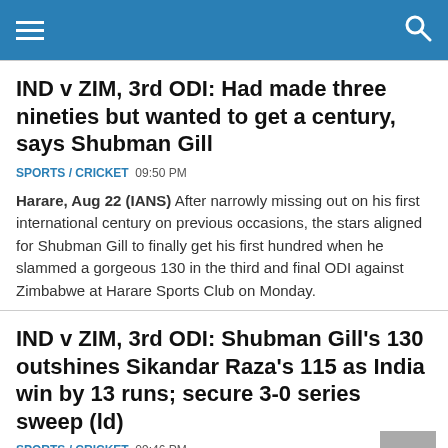Navigation header bar with menu and search icons
IND v ZIM, 3rd ODI: Had made three nineties but wanted to get a century, says Shubman Gill
SPORTS / CRICKET  09:50 PM
Harare, Aug 22 (IANS) After narrowly missing out on his first international century on previous occasions, the stars aligned for Shubman Gill to finally get his first hundred when he slammed a gorgeous 130 in the third and final ODI against Zimbabwe at Harare Sports Club on Monday.
IND v ZIM, 3rd ODI: Shubman Gill's 130 outshines Sikandar Raza's 115 as India win by 13 runs; secure 3-0 series sweep (ld)
SPORTS / CRICKET  09:46 PM
Harare, Aug 22 (IANS) Shubman Gill's maiden ODI hundred